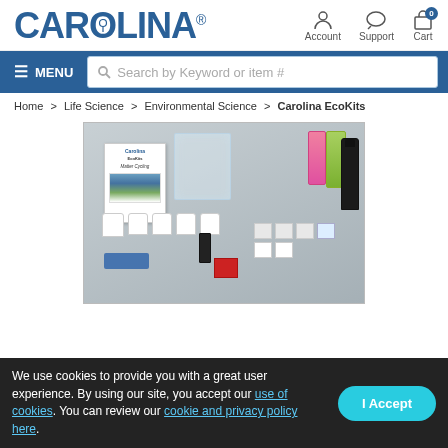[Figure (logo): Carolina Biological Supply Company logo in blue bold text]
Account  Support  Cart
≡ MENU  Search by Keyword or item #
Home > Life Science > Environmental Science > Carolina EcoKits
[Figure (photo): Carolina EcoKits Matter Cycling kit showing science supplies including containers, vials, packets, a booklet labeled 'Matter Cycling', and various lab materials arranged on a gray surface]
We use cookies to provide you with a great user experience. By using our site, you accept our use of cookies. You can review our cookie and privacy policy here.